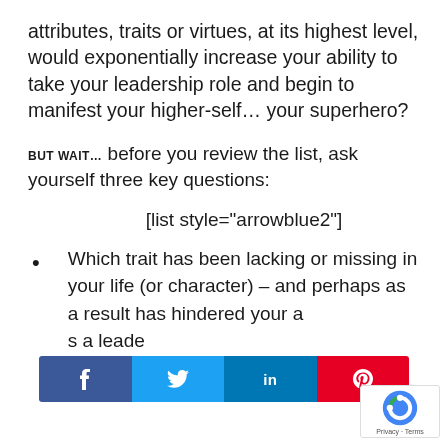attributes, traits or virtues, at its highest level, would exponentially increase your ability to take your leadership role and begin to manifest your higher-self… your superhero?
BUT WAIT… before you review the list, ask yourself three key questions:
[list style="arrowblue2"]
Which trait has been lacking or missing in your life (or character) – and perhaps as a result has hindered your a[bility to show up] as a leade[r] with congruence and confidence?